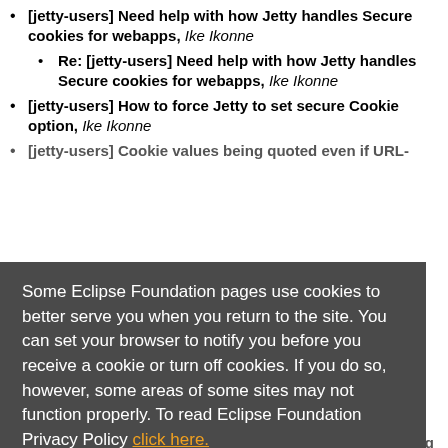[jetty-users] Need help with how Jetty handles Secure cookies for webapps, Ike Ikonne
Re: [jetty-users] Need help with how Jetty handles Secure cookies for webapps, Ike Ikonne
[jetty-users] How to force Jetty to set secure Cookie option, Ike Ikonne
[jetty-users] Cookie values being quoted even if URL-...
Some Eclipse Foundation pages use cookies to better serve you when you return to the site. You can set your browser to notify you before you receive a cookie or turn off cookies. If you do so, however, some areas of some sites may not function properly. To read Eclipse Foundation Privacy Policy click here.
[jetty-users] HTTP ... Ike Ikonne [jetty-users] Jetty HttpClient ... going from M5 to RC0 (and above), Jan Waldebuhr
Re: [jetty-users] Jetty HttpClient redirect issue going from M5 to RC0 (and above), Simone Bordet